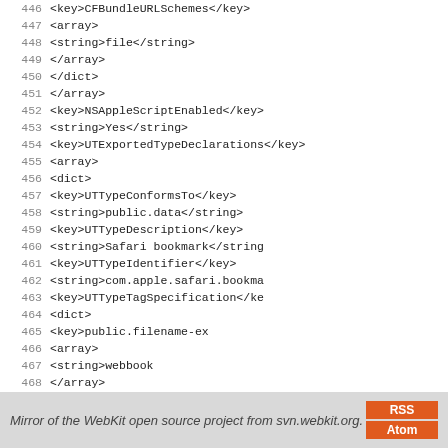Code listing lines 446-474 showing XML plist content with UTTypeDeclarations and related keys
Mirror of the WebKit open source project from svn.webkit.org.